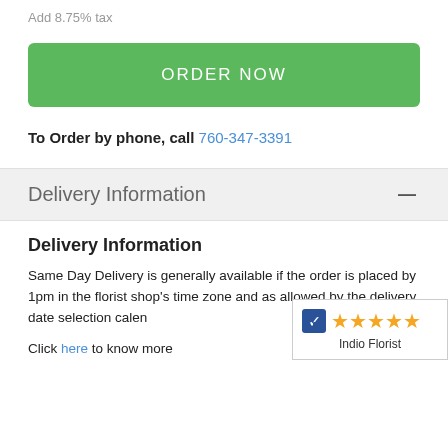Add 8.75% tax
[Figure (other): Green ORDER NOW button]
To Order by phone, call 760-347-3391
Delivery Information
Delivery Information
Same Day Delivery is generally available if the order is placed by 1pm in the florist shop's time zone and as allowed by the delivery date selection calendar.
Click here to know more
[Figure (other): 5-star rating badge for Indio Florist with shopping cart icon and orange stars]